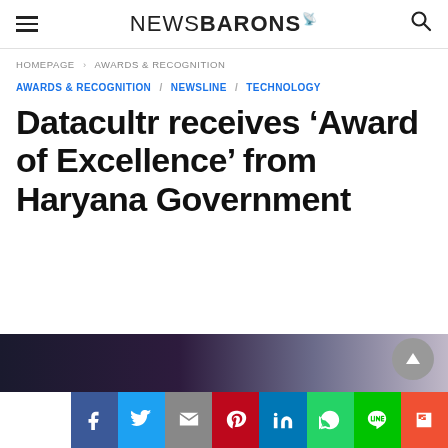NEWSBARONS
HOMEPAGE > AWARDS & RECOGNITION
AWARDS & RECOGNITION / NEWSLINE / TECHNOLOGY
Datacultr receives 'Award of Excellence' from Haryana Government